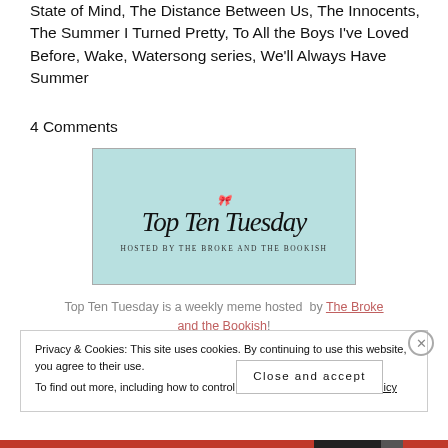State of Mind, The Distance Between Us, The Innocents, The Summer I Turned Pretty, To All the Boys I've Loved Before, Wake, Watersong series, We'll Always Have Summer
4 Comments
[Figure (illustration): Top Ten Tuesday banner image with light blue/teal background, cursive script title 'Top Ten Tuesday' and subtitle 'Hosted by The Broke and the Bookish']
Top Ten Tuesday is a weekly meme hosted by The Broke and the Bookish!
Privacy & Cookies: This site uses cookies. By continuing to use this website, you agree to their use.
To find out more, including how to control cookies, see here: Cookie Policy
Close and accept